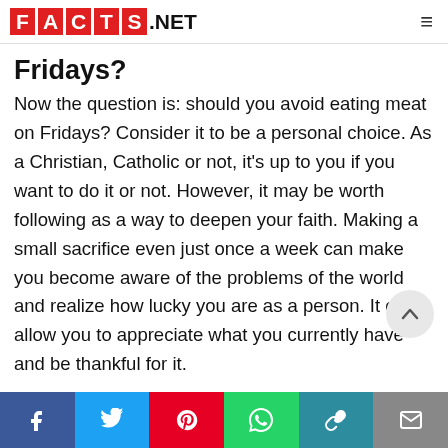FACTS.NET
Fridays?
Now the question is: should you avoid eating meat on Fridays? Consider it to be a personal choice. As a Christian, Catholic or not, it's up to you if you want to do it or not. However, it may be worth following as a way to deepen your faith. Making a small sacrifice even just once a week can make you become aware of the problems of the world and realize how lucky you are as a person. It can allow you to appreciate what you currently have and be thankful for it.